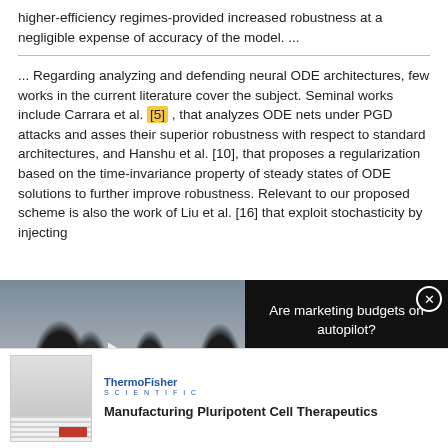higher-efficiency regimes-provided increased robustness at a negligible expense of accuracy of the model. ...
... Regarding analyzing and defending neural ODE architectures, few works in the current literature cover the subject. Seminal works include Carrara et al. [5] , that analyzes ODE nets under PGD attacks and asses their superior robustness with respect to standard architectures, and Hanshu et al. [10], that proposes a regularization based on the time-invariance property of steady states of ODE solutions to further improve robustness. Relevant to our proposed scheme is also the work of Liu et al. [16] that exploit stochasticity by injecting
[Figure (other): Video advertisement overlay: 'Are marketing budgets on autopilot?' with thumbnail showing people in a meeting room and a play button, with a close (X) button.]
[Figure (other): Bottom advertisement for Thermo Fisher Scientific: 'Manufacturing Pluripotent Cell Therapeutics' with document thumbnail on left.]